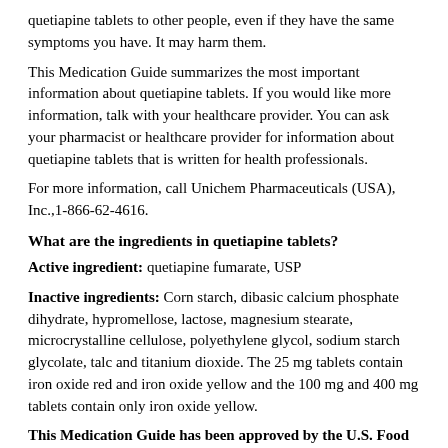quetiapine tablets to other people, even if they have the same symptoms you have. It may harm them.
This Medication Guide summarizes the most important information about quetiapine tablets. If you would like more information, talk with your healthcare provider. You can ask your pharmacist or healthcare provider for information about quetiapine tablets that is written for health professionals.
For more information, call Unichem Pharmaceuticals (USA), Inc.,1-866-62-4616.
What are the ingredients in quetiapine tablets?
Active ingredient: quetiapine fumarate, USP
Inactive ingredients: Corn starch, dibasic calcium phosphate dihydrate, hypromellose, lactose, magnesium stearate, microcrystalline cellulose, polyethylene glycol, sodium starch glycolate, talc and titanium dioxide. The 25 mg tablets contain iron oxide red and iron oxide yellow and the 100 mg and 400 mg tablets contain only iron oxide yellow.
This Medication Guide has been approved by the U.S. Food and Drug Administration.
Additional medication guides can be obtained by calling Unichem at 1-866-562-4616.